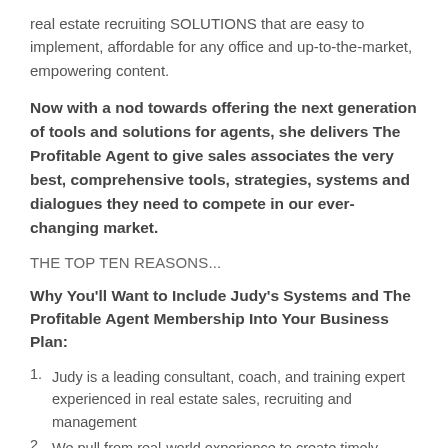real estate recruiting SOLUTIONS that are easy to implement, affordable for any office and up-to-the-market, empowering content.
Now with a nod towards offering the next generation of tools and solutions for agents, she delivers The Profitable Agent to give sales associates the very best, comprehensive tools, strategies, systems and dialogues they need to compete in our ever-changing market.
THE TOP TEN REASONS...
Why You'll Want to Include Judy's Systems and The Profitable Agent Membership Into Your Business Plan:
Judy is a leading consultant, coach, and training expert experienced in real estate sales, recruiting and management
We pull from real-world experience to create timely